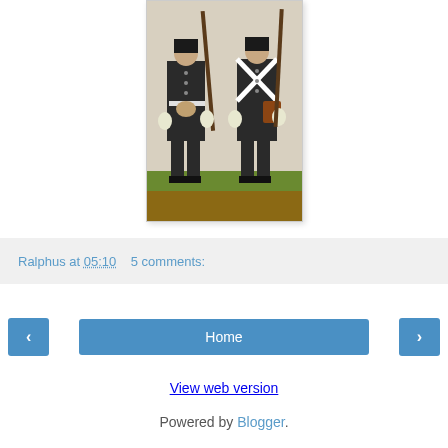[Figure (illustration): Painting of two soldiers in dark uniforms with rifles, white cross-belts, standing on grass]
Ralphus at 05:10    5 comments:
‹
Home
›
View web version
Powered by Blogger.